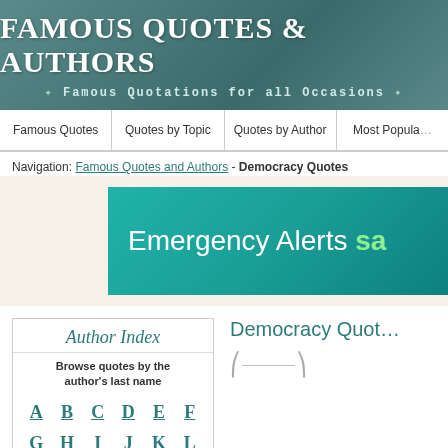Famous Quotes & Authors — Famous Quotations for all Occasions
Famous Quotes | Quotes by Topic | Quotes by Author | Most Popular
Navigation: Famous Quotes and Authors - Democracy Quotes
[Figure (screenshot): Advertisement banner: 'Emergency Alerts sa...' on teal background]
Author Index
Browse quotes by the author's last name
A B C D E F G H I J K L M N O P Q R S T U V W X
Democracy Quotes